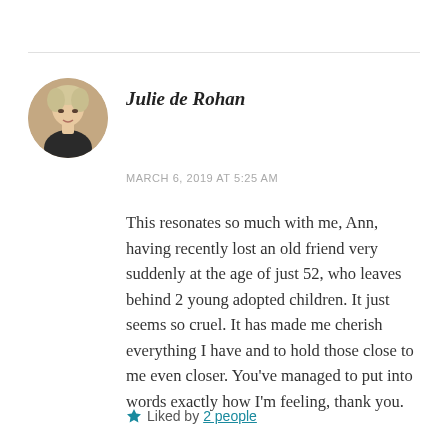Julie de Rohan
MARCH 6, 2019 AT 5:25 AM
This resonates so much with me, Ann, having recently lost an old friend very suddenly at the age of just 52, who leaves behind 2 young adopted children. It just seems so cruel. It has made me cherish everything I have and to hold those close to me even closer. You've managed to put into words exactly how I'm feeling, thank you.
Liked by 2 people